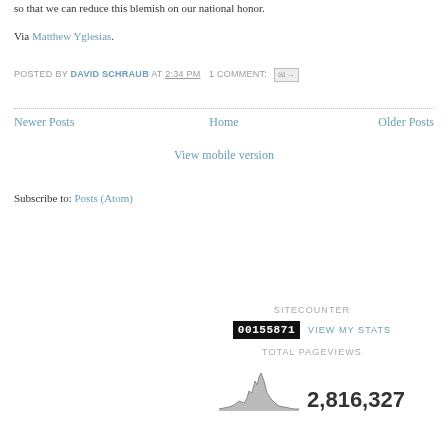so that we can reduce this blemish on our national honor.
Via Matthew Yglesias.
POSTED BY DAVID SCHRAUB AT 2:34 PM  1 COMMENT:
Newer Posts    Home    Older Posts
View mobile version
Subscribe to: Posts (Atom)
[Figure (other): Site counter badge showing 00155871 and VIEW MY STATS link, SITECOUNTER label, TOTAL PAGEVIEWS label, sparkline chart, and count 2,816,327]